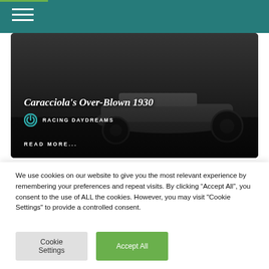Caracciola's Over-Blown 1930
RACING DAYDREAMS
READ MORE...
[Figure (photo): Partial view of a second article card with a circular logo/emblem featuring green and white design on dark background]
We use cookies on our website to give you the most relevant experience by remembering your preferences and repeat visits. By clicking “Accept All”, you consent to the use of ALL the cookies. However, you may visit "Cookie Settings" to provide a controlled consent.